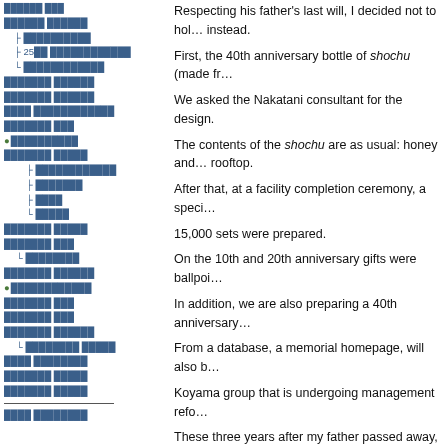██████ ███
██████ ██████
├ ██████████
├ 25██ ████████████
└ ████████████
███████ ██████
███████ ██████
████ ████████████
███████ ███
●██████████
███████ █████
├ ████████████
├ ███████
├ ████
└ █████
███████ █████
███████ ███
└ ████████
███████ ██████
●████████████
███████ ███
███████ ███
███████ ██████
└ ████████ █████
████ ████████
███████ █████
███████ █████
████ ████████
Respecting his father's last will, I decided not to hold a funeral instead.
First, the 40th anniversary bottle of shochu (made fr…
We asked the Nakatani consultant for the design.
The contents of the shochu are as usual: honey and… rooftop.
After that, at a facility completion ceremony, a speci…
15,000 sets were prepared.
On the 10th and 20th anniversary gifts were ballpoi…
In addition, we are also preparing a 40th anniversary…
From a database, a memorial homepage, will also b…
Koyama group that is undergoing management refo…
These three years after my father passed away, has…
400 days from tomorrow feels like a future far away.
Like 400 rounds of golf.
Koyama is not good at running fast but is talented a…